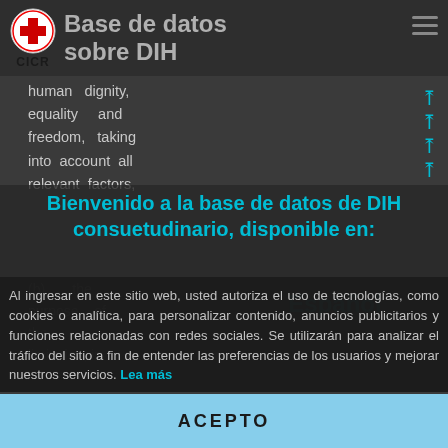Base de datos sobre DIH
human dignity, equality and freedom, taking into account all relevant factors,
Bienvenido a la base de datos de DIH consuetudinario, disponible en:
(b) the purpose of the limitation, in
Español
Al ingresar en este sitio web, usted autoriza el uso de tecnologías, como cookies o analítica, para personalizar contenido, anuncios publicitarios y funciones relacionadas con redes sociales. Se utilizarán para analizar el tráfico del sitio a fin de entender las preferencias de los usuarios y mejorar nuestros servicios. Lea más
ACEPTO